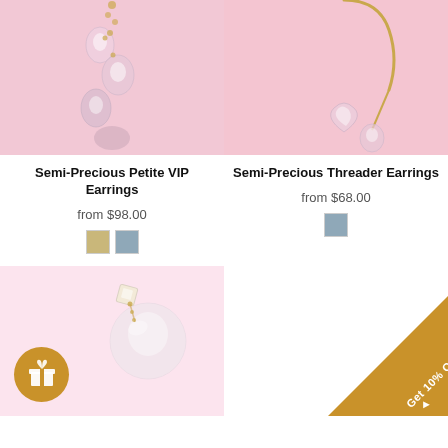[Figure (photo): Semi-Precious Petite VIP Earrings product photo on pink background]
[Figure (photo): Semi-Precious Threader Earrings product photo on pink background]
Semi-Precious Petite VIP Earrings
from $98.00
Semi-Precious Threader Earrings
from $68.00
[Figure (photo): Pearl/crystal earring product photo on light pink background]
[Figure (infographic): Get 10% Off! promotional badge in gold diagonal corner banner]